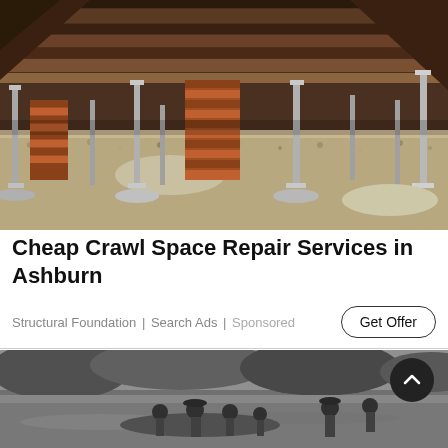[Figure (photo): Interior crawl space under a house showing brick and metal support columns, wooden floor joists above, and gravel/dirt ground below. Several adjustable steel jack posts are visible supporting the structure.]
Cheap Crawl Space Repair Services in Ashburn
Structural Foundation | Search Ads | Sponsored
[Figure (photo): Black and white photograph of people in a boat or near water with trees in the background. A dark circular scroll-up button with a chevron/arrow icon is overlaid in the upper right area of the image.]